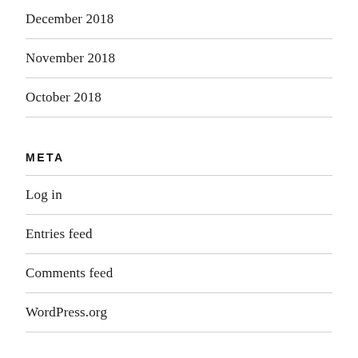December 2018
November 2018
October 2018
META
Log in
Entries feed
Comments feed
WordPress.org